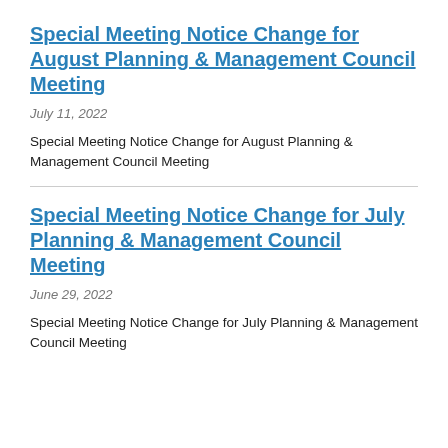Special Meeting Notice Change for August Planning & Management Council Meeting
July 11, 2022
Special Meeting Notice Change for August Planning & Management Council Meeting
Special Meeting Notice Change for July Planning & Management Council Meeting
June 29, 2022
Special Meeting Notice Change for July Planning & Management Council Meeting